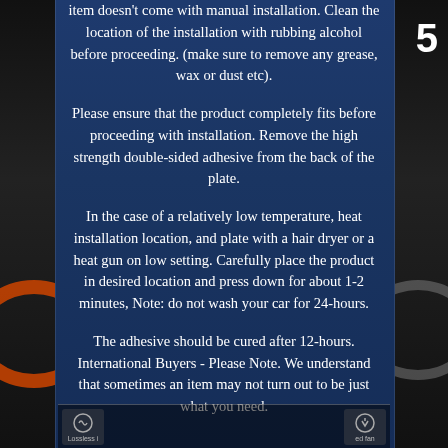item doesn't come with manual installation. Clean the location of the installation with rubbing alcohol before proceeding. (make sure to remove any grease, wax or dust etc).
Please ensure that the product completely fits before proceeding with installation. Remove the high strength double-sided adhesive from the back of the plate.
In the case of a relatively low temperature, heat installation location, and plate with a hair dryer or a heat gun on low setting. Carefully place the product in desired location and press down for about 1-2 minutes, Note: do not wash your car for 24-hours.
The adhesive should be cured after 12-hours. International Buyers - Please Note. We understand that sometimes an item may not turn out to be just what you need.
Lossless i                    ed fan